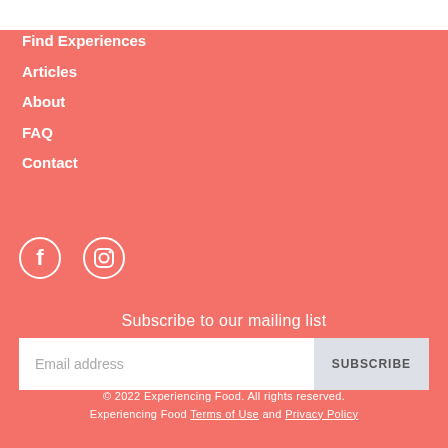Find Experiences
Articles
About
FAQ
Contact
[Figure (illustration): Facebook and Instagram social media icons as white circles with icons inside]
Subscribe to our mailing list
Email address  SUBSCRIBE
© 2022 Experiencing Food. All rights reserved. Experiencing Food Terms of Use and Privacy Policy